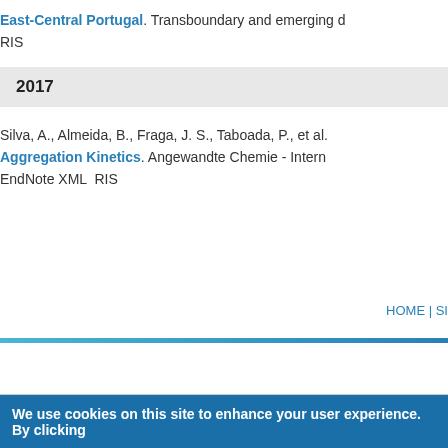East-Central Portugal. Transboundary and emerging d RIS
2017
Silva, A., Almeida, B., Fraga, J. S., Taboada, P., et al. Aggregation Kinetics. Angewandte Chemie - Intern EndNote XML  RIS
HOME | SI
We use cookies on this site to enhance your user experience. By clicking